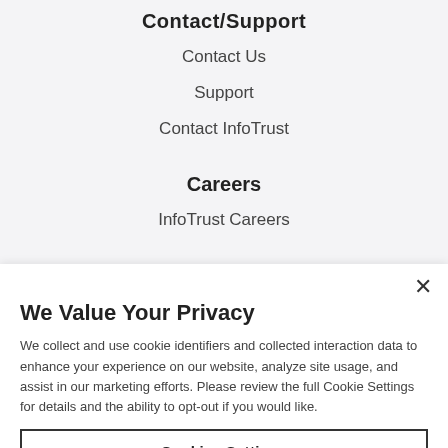Contact/Support
Contact Us
Support
Contact InfoTrust
Careers
InfoTrust Careers
We Value Your Privacy
We collect and use cookie identifiers and collected interaction data to enhance your experience on our website, analyze site usage, and assist in our marketing efforts. Please review the full Cookie Settings for details and the ability to opt-out if you would like.
Cookies Settings